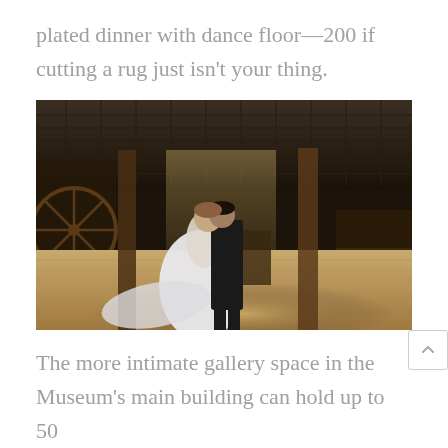plated dinner with dance floor—200 if cutting a rug just isn't your thing.
[Figure (photo): A bride and groom sharing an intimate moment inside a rustic barn venue with wooden beams, wagon wheels, and warm lighting on wooden plank floors.]
The more intimate gallery space in the Museum's main building can hold up to 50